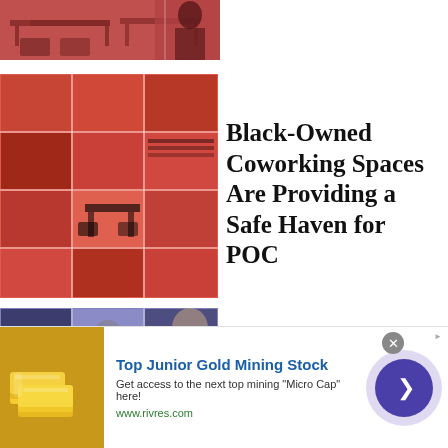[Figure (photo): Top strip showing coworking space tables and chairs with reddish-orange tint, and a person in background]
[Figure (photo): Red/orange tinted collage grid of coworking space interior photos]
Black-Owned Coworking Spaces Are Providing a Safe Haven for POC
[Figure (photo): Purple/blue tinted collage grid of people's faces and portraits]
Where Did All Mo...
[Figure (infographic): Advertisement banner: Top Junior Gold Mining Stock - Get access to the next top mining Micro Cap here! www.rivres.com]